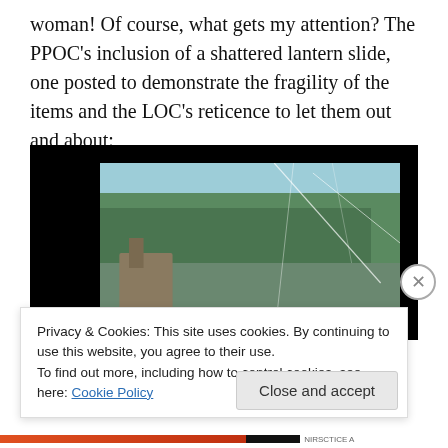woman! Of course, what gets my attention? The PPOC's inclusion of a shattered lantern slide, one posted to demonstrate the fragility of the items and the LOC's reticence to let them out and about:
[Figure (photo): A shattered lantern slide showing a landscape with trees, water, and stone ruins. The slide has a black border/mount and the glass image area shows visible cracks across the scene. The scene depicts a waterway with dense green trees and a stone structure on the left bank under a blue sky.]
Privacy & Cookies: This site uses cookies. By continuing to use this website, you agree to their use.
To find out more, including how to control cookies, see here: Cookie Policy
Close and accept